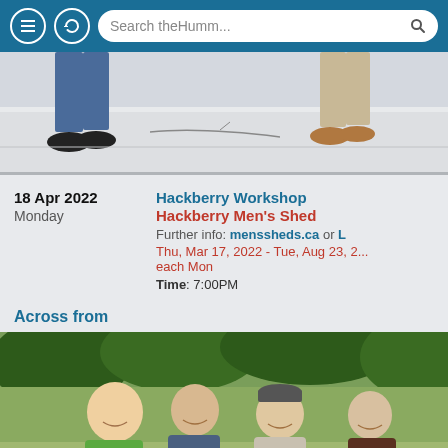Search theHumm...
[Figure (photo): Cropped photo showing feet/legs of two people standing on snow-covered ground]
18 Apr 2022
Monday
Hackberry Workshop
Hackberry Men's Shed
Further info: menssheds.ca or L...
Thu, Mar 17, 2022 - Tue, Aug 23, 2... each Mon
Time: 7:00PM
Across from
[Figure (photo): Outdoor photo of four men standing together smiling, with trees and field in background]